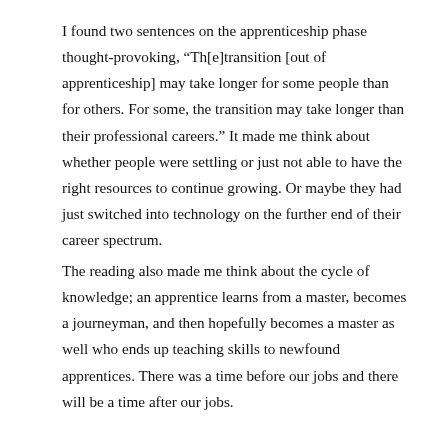I found two sentences on the apprenticeship phase thought-provoking, “Th[e]transition [out of apprenticeship] may take longer for some people than for others. For some, the transition may take longer than their professional careers.” It made me think about whether people were settling or just not able to have the right resources to continue growing. Or maybe they had just switched into technology on the further end of their career spectrum.
The reading also made me think about the cycle of knowledge; an apprentice learns from a master, becomes a journeyman, and then hopefully becomes a master as well who ends up teaching skills to newfound apprentices. There was a time before our jobs and there will be a time after our jobs.